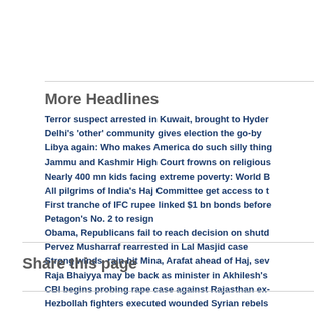More Headlines
Terror suspect arrested in Kuwait, brought to Hyder
Delhi's 'other' community gives election the go-by
Libya again: Who makes America do such silly thing
Jammu and Kashmir High Court frowns on religious
Nearly 400 mn kids facing extreme poverty: World B
All pilgrims of India's Haj Committee get access to t
First tranche of IFC rupee linked $1 bn bonds before
Petagon's No. 2 to resign
Obama, Republicans fail to reach decision on shutd
Pervez Musharraf rearrested in Lal Masjid case
Strong winds, rain hit Mina, Arafat ahead of Haj, sev
Raja Bhaiyya may be back as minister in Akhilesh's
CBI begins probing rape case against Rajasthan ex-
Hezbollah fighters executed wounded Syrian rebels
Saudi govt announces low-cost Haj service for loca
Share this page